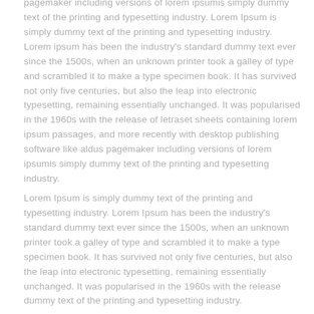pagemaker including versions of lorem ipsumis simply dummy text of the printing and typesetting industry. Lorem Ipsum is simply dummy text of the printing and typesetting industry. Lorem ipsum has been the industry's standard dummy text ever since the 1500s, when an unknown printer took a galley of type and scrambled it to make a type specimen book. It has survived not only five centuries, but also the leap into electronic typesetting, remaining essentially unchanged. It was popularised in the 1960s with the release of letraset sheets containing lorem ipsum passages, and more recently with desktop publishing software like aldus pagemaker including versions of lorem ipsumis simply dummy text of the printing and typesetting industry.
Lorem Ipsum is simply dummy text of the printing and typesetting industry. Lorem Ipsum has been the industry's standard dummy text ever since the 1500s, when an unknown printer took a galley of type and scrambled it to make a type specimen book. It has survived not only five centuries, but also the leap into electronic typesetting, remaining essentially unchanged. It was popularised in the 1960s with the release dummy text of the printing and typesetting industry.